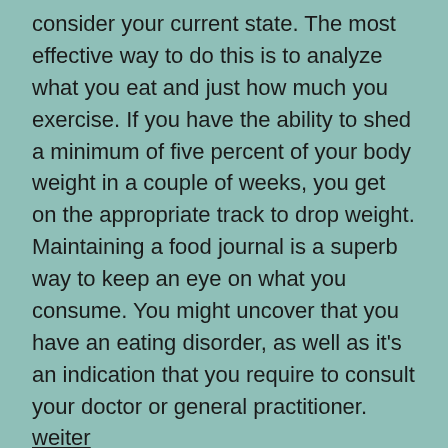consider your current state. The most effective way to do this is to analyze what you eat and just how much you exercise. If you have the ability to shed a minimum of five percent of your body weight in a couple of weeks, you get on the appropriate track to drop weight. Maintaining a food journal is a superb way to keep an eye on what you consume. You might uncover that you have an eating disorder, as well as it's an indication that you require to consult your doctor or general practitioner.
weiter
If your weight management has actually been